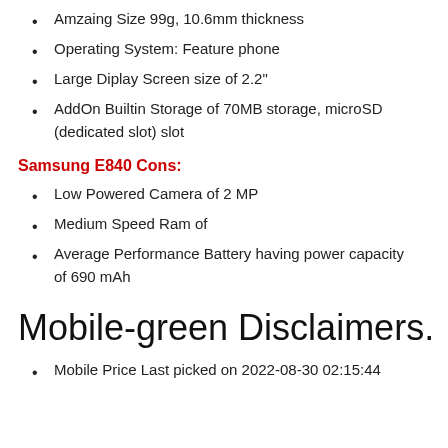Amzaing Size 99g, 10.6mm thickness
Operating System: Feature phone
Large Diplay Screen size of 2.2"
AddOn Builtin Storage of 70MB storage, microSD (dedicated slot) slot
Samsung E840 Cons:
Low Powered Camera of 2 MP
Medium Speed Ram of
Average Performance Battery having power capacity of 690 mAh
Mobile-green Disclaimers.
Mobile Price Last picked on 2022-08-30 02:15:44